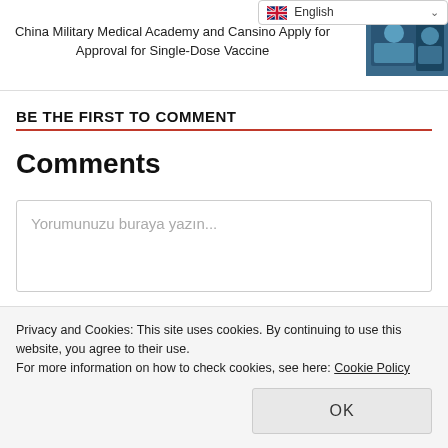English (language selector)
NEXT »
China Military Medical Academy and Cansino Apply for Approval for Single-Dose Vaccine
BE THE FIRST TO COMMENT
Comments
Yorumunuzu buraya yazın...
Privacy and Cookies: This site uses cookies. By continuing to use this website, you agree to their use.
For more information on how to check cookies, see here: Cookie Policy
OK